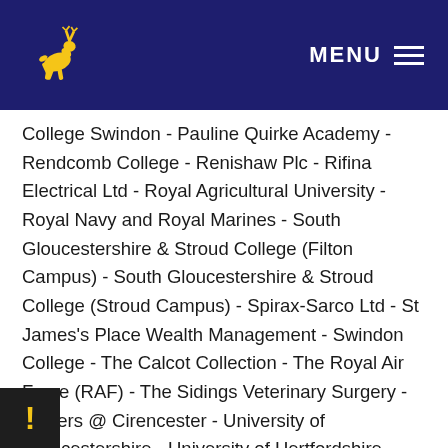MENU
College Swindon - Pauline Quirke Academy - Rendcomb College - Renishaw Plc - Rifina Electrical Ltd - Royal Agricultural University - Royal Navy and Royal Marines - South Gloucestershire & Stroud College (Filton Campus) - South Gloucestershire & Stroud College (Stroud Campus) - Spirax-Sarco Ltd - St James's Place Wealth Management - Swindon College - The Calcot Collection - The Royal Air Force (RAF) - The Sidings Veterinary Surgery - Tiggers @ Cirencester - University of Gloucestershire - University of Hertfordshire - University of South Wales - University of...